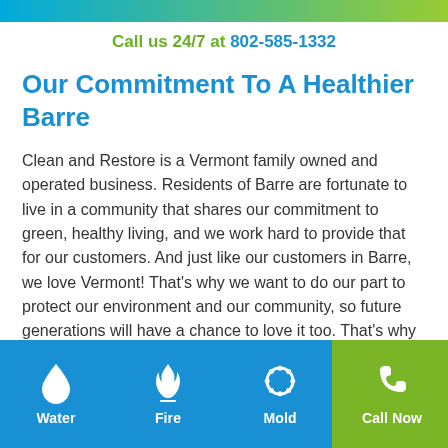[Figure (other): Gradient top bar blue to green]
Call us 24/7 at 802-585-1332
Our Commitment To A Healthier Barre
Clean and Restore is a Vermont family owned and operated business. Residents of Barre are fortunate to live in a community that shares our commitment to green, healthy living, and we work hard to provide that for our customers. And just like our customers in Barre, we love Vermont! That's why we want to do our part to protect our environment and our community, so future generations will have a chance to love it too. That's why
Water | Fire | Mold | Generate | Call Now